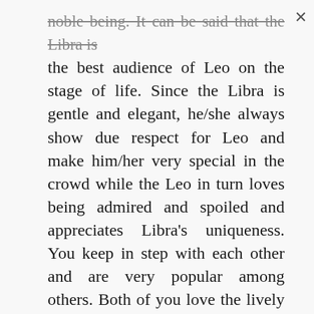noble being. It can be said that the Libra is the best audience of Leo on the stage of life. Since the Libra is gentle and elegant, he/she always show due respect for Leo and make him/her very special in the crowd while the Leo in turn loves being admired and spoiled and appreciates Libra's uniqueness. You keep in step with each other and are very popular among others. Both of you love the lively parties and have the similar values and life attitudes. As long as the Libra could share with Leo the leisure activities he/she loves, you can live a sweet and harmonious life together!